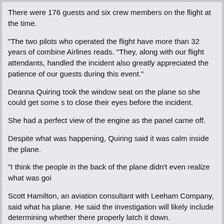There were 176 guests and six crew members on the flight at the time.
"The two pilots who operated the flight have more than 32 years of combined Airlines reads. "They, along with our flight attendants, handled the incident also greatly appreciated the patience of our guests during this event."
Deanna Quiring took the window seat on the plane so she could get some to close their eyes before the incident.
She had a perfect view of the engine as the panel came off.
Despite what was happening, Quiring said it was calm inside the plane.
"I think the people in the back of the plane didn't even realize what was goi
Scott Hamilton, an aviation consultant with Leeham Company, said what ha plane. He said the investigation will likely include determining whether there properly latch it down.
The National Transportation Safety Board is investigating.
10  Pilot/Controller Forum / Proposals would ease standards, rais
« Last post by KB4TEZ on August 24, 2022, 05:51:06 AM »
https://www.npr.org/2022/08/10/1116650102/proposals-would-ease-standa